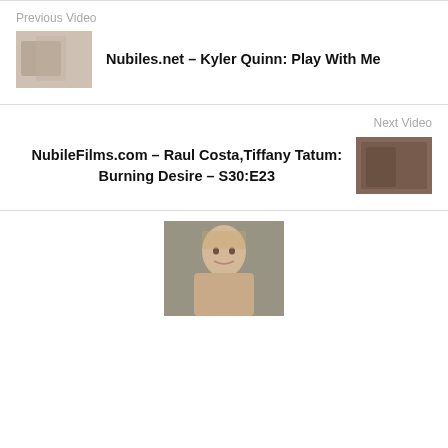Previous Video
Nubiles.net – Kyler Quinn: Play With Me
[Figure (photo): Thumbnail image for previous video]
Next Video
NubileFilms.com – Raul Costa,Tiffany Tatum: Burning Desire – S30:E23
[Figure (photo): Thumbnail image for next video]
[Figure (photo): Portrait photo of a young blonde woman]